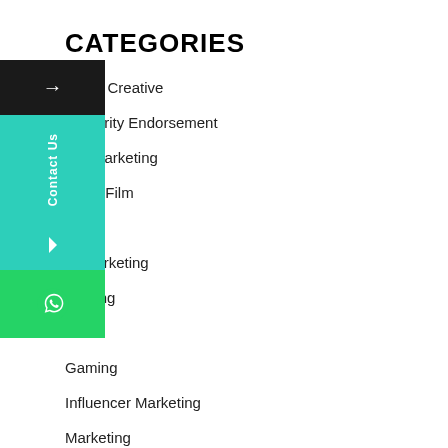CATEGORIES
Being Creative
Celebrity Endorsement
Content Marketing
Corporate Film
Designing
Digital Marketing
Film Making
Financial
Gaming
Influencer Marketing
Marketing
Marketing Strategy